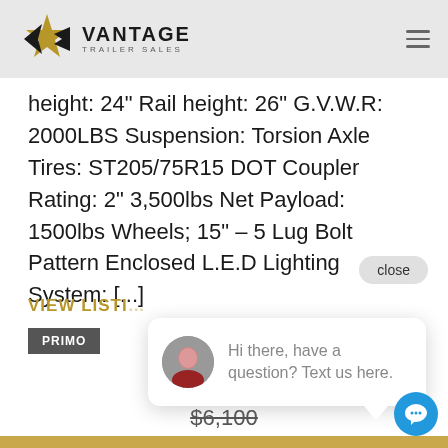VANTAGE TRAILER SALES
height: 24" Rail height: 26" G.V.W.R: 2000LBS Suspension: Torsion Axle Tires: ST205/75R15 DOT Coupler Rating: 2" 3,500lbs Net Payload: 1500lbs Wheels; 15" – 5 Lug Bolt Pattern Enclosed L.E.D Lighting System: [...]
close
VIEW LISTI
PRIMO
Hi there, have a question? Text us here.
INTRODUCTORY PRICING!
$6,100
$5,000